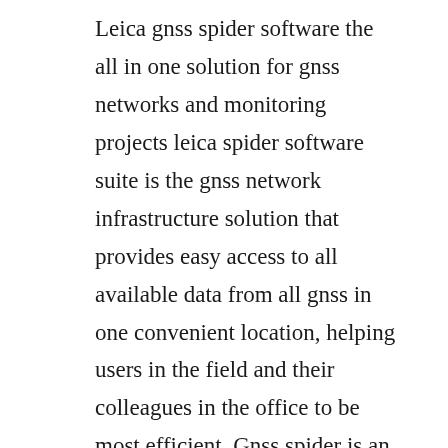Leica gnss spider software the all in one solution for gnss networks and monitoring projects leica spider software suite is the gnss network infrastructure solution that provides easy access to all available data from all gnss in one convenient location, helping users in the field and their colleagues in the office to be most efficient. Gnss spider is an integrated software suite for centrally controlling and operating gnss for their needs join them in using leica gnss spider. Spider to connect from a pc to a gps1200 to automatically convert data to receiver locally or remotely.